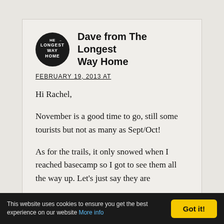[Figure (logo): Circular black logo with white text reading 'THE LONGEST WAY HOME']
Dave from The Longest Way Home
FEBRUARY 19, 2013 AT
Hi Rachel,
November is a good time to go, still some tourists but not as many as Sept/Oct!
As for the trails, it only snowed when I reached basecamp so I got to see them all the way up. Let's just say they are
This website uses cookies to ensure you get the best experience on our website More info